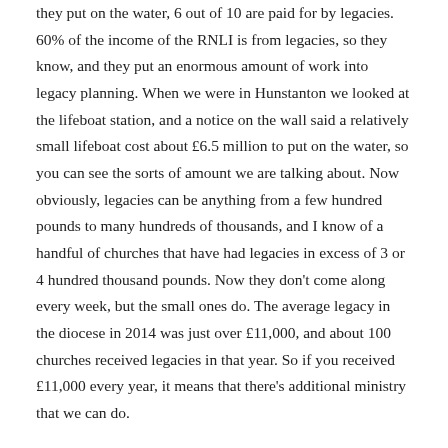they put on the water, 6 out of 10 are paid for by legacies. 60% of the income of the RNLI is from legacies, so they know, and they put an enormous amount of work into legacy planning. When we were in Hunstanton we looked at the lifeboat station, and a notice on the wall said a relatively small lifeboat cost about £6.5 million to put on the water, so you can see the sorts of amount we are talking about. Now obviously, legacies can be anything from a few hundred pounds to many hundreds of thousands, and I know of a handful of churches that have had legacies in excess of 3 or 4 hundred thousand pounds. Now they don't come along every week, but the small ones do. The average legacy in the diocese in 2014 was just over £11,000, and about 100 churches received legacies in that year. So if you received £11,000 every year, it means that there's additional ministry that we can do.